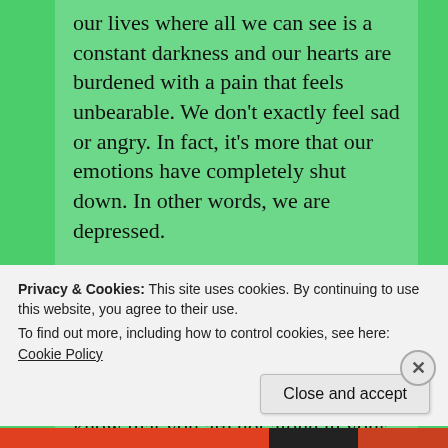our lives where all we can see is a constant darkness and our hearts are burdened with a pain that feels unbearable. We don't exactly feel sad or angry. In fact, it's more that our emotions have completely shut down. In other words, we are depressed.

Today's Psalm captures the despair within the people who have depression and anxiety. If you feel like you're crying out and the Lord doesn't seem to be with you at all, know that you are not alone in your despair.
Privacy & Cookies: This site uses cookies. By continuing to use this website, you agree to their use.
To find out more, including how to control cookies, see here: Cookie Policy
Close and accept